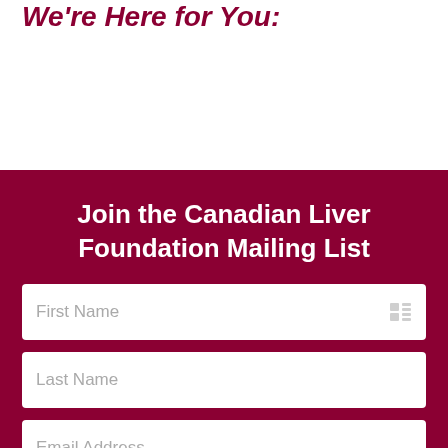We're Here for You:
Join the Canadian Liver Foundation Mailing List
First Name
Last Name
Email Address